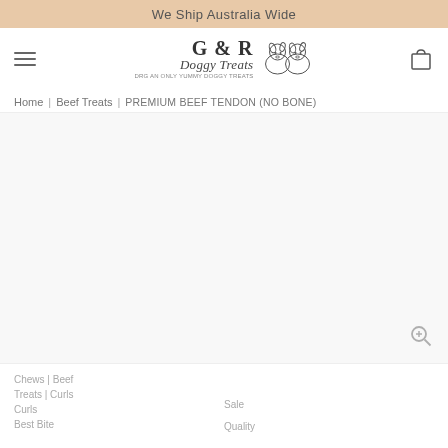We Ship Australia Wide
[Figure (logo): G & R Doggy Treats logo with two illustrated dogs and text]
Home | Beef Treats | PREMIUM BEEF TENDON (NO BONE)
[Figure (photo): Product photo area for Premium Beef Tendon (No Bone) — white/empty product image with zoom icon]
Chews | Beef Treats | Curls | Best Bite
Sale
Quality